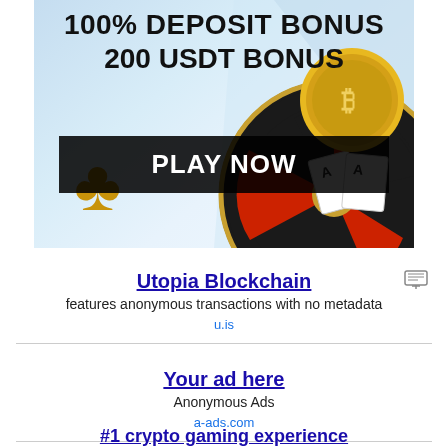[Figure (illustration): Casino advertisement banner with roulette wheel, gold coin, playing cards, and clover/clubs symbol. Text reads '100% DEPOSIT BONUS 200 USDT BONUS' and 'PLAY NOW' button on dark bar.]
Utopia Blockchain
features anonymous transactions with no metadata
u.is
Your ad here
Anonymous Ads
a-ads.com
#1 crypto gaming experience